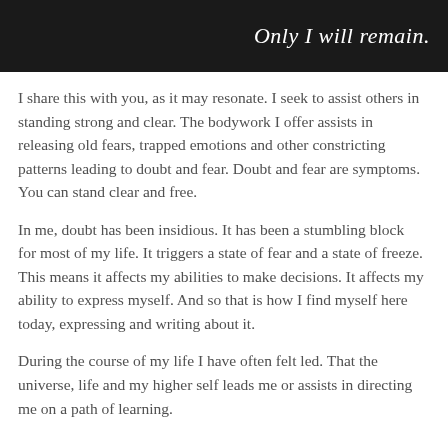Only I will remain.
I share this with you, as it may resonate. I seek to assist others in standing strong and clear. The bodywork I offer assists in releasing old fears, trapped emotions and other constricting patterns leading to doubt and fear. Doubt and fear are symptoms. You can stand clear and free.
In me, doubt has been insidious. It has been a stumbling block for most of my life. It triggers a state of fear and a state of freeze. This means it affects my abilities to make decisions. It affects my ability to express myself. And so that is how I find myself here today, expressing and writing about it.
During the course of my life I have often felt led. That the universe, life and my higher self leads me or assists in directing me on a path of learning.